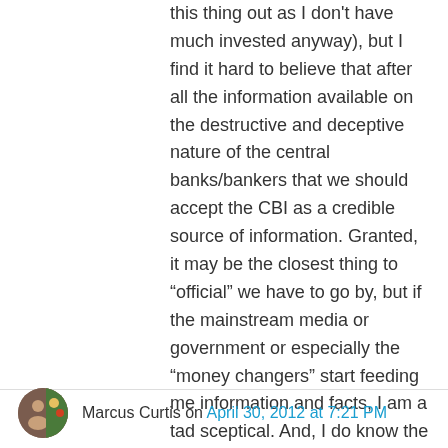this thing out as I don't have much invested anyway), but I find it hard to believe that after all the information available on the destructive and deceptive nature of the central banks/bankers that we should accept the CBI as a credible source of information. Granted, it may be the closest thing to “official” we have to go by, but if the mainstream media or government or especially the “money changers” start feeding me information and facts, I am a tad sceptical. And, I do know the rabbit hole goes deep, but I’ll bite…JMW, who do you think is really behind the central banks?
Like
Marcus Curtis on April 30, 2012 at 7:21 PM